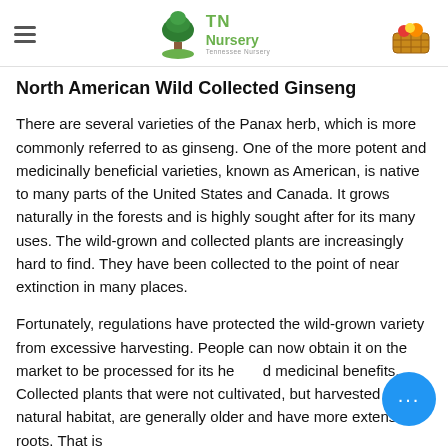TN Nursery
North American Wild Collected Ginseng
There are several varieties of the Panax herb, which is more commonly referred to as ginseng. One of the more potent and medicinally beneficial varieties, known as American, is native to many parts of the United States and Canada. It grows naturally in the forests and is highly sought after for its many uses. The wild-grown and collected plants are increasingly hard to find. They have been collected to the point of near extinction in many places.
Fortunately, regulations have protected the wild-grown variety from excessive harvesting. People can now obtain it on the market to be processed for its health and medicinal benefits. Collected plants that were not cultivated, but harvested in their natural habitat, are generally older and have more extensive roots. That is